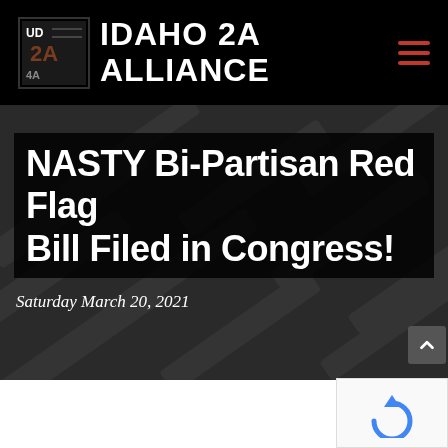IDAHO 2A ALLIANCE
NASTY Bi-Partisan Red Flag Bill Filed in Congress!
Saturday March 20, 2021
[Figure (screenshot): reCAPTCHA widget in bottom right corner]